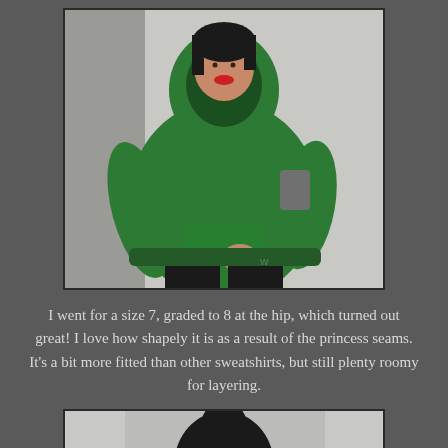[Figure (photo): A woman wearing a green hoodie sweatshirt with princess seams, smiling, standing against a light grey wall. She has dark hair and is wearing black pants. Her right hand is on her hip.]
I went for a size 7, graded to 8 at the hip, which turned out great! I love how shapely it is as a result of the princess seams. It's a bit more fitted than other sweatshirts, but still plenty roomy for layering.
[Figure (photo): Partial view of another photo below, showing the top portion of a person, cropped at the bottom of the page.]